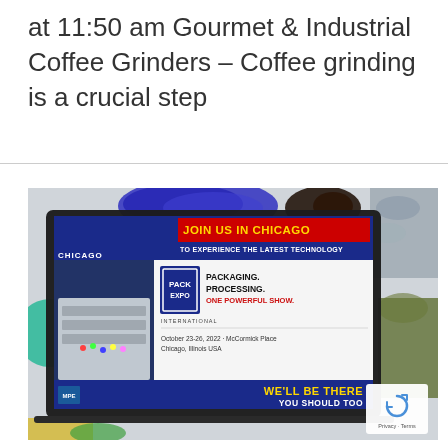at 11:50 am Gourmet & Industrial Coffee Grinders – Coffee grinding is a crucial step
[Figure (photo): Advertisement for PACK EXPO International, October 23-26, 2022, McCormick Place, Chicago, Illinois USA. Shows a laptop displaying the Pack Expo International ad with text 'JOIN US IN CHICAGO TO EXPERIENCE THE LATEST TECHNOLOGY', 'PACKAGING. PROCESSING. ONE POWERFUL SHOW.', 'WE'LL BE THERE YOU SHOULD TOO'. The laptop sits amid colorful spices and granules. A reCAPTCHA Privacy-Terms badge appears in the bottom right corner.]